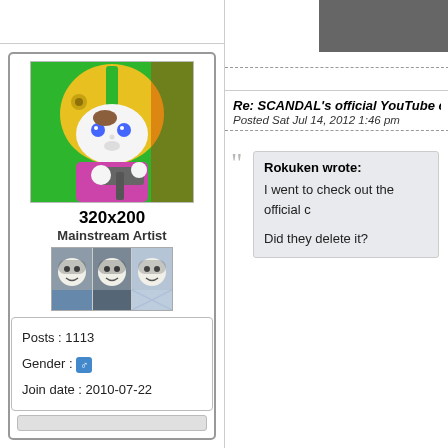[Figure (screenshot): Forum post layout with two columns. Left column shows user profile card with avatar (cartoon character with yellow helmet), username 320x200, rank Mainstream Artist, rank images strip, and user info box showing Posts: 1113, Gender: (male icon), Join date: 2010-07-22. Right column shows post titled Re: SCANDAL's official YouTube char... posted Sat Jul 14, 2012 1:46 pm, with a quote box from Rokuken saying 'I went to check out the official c...' and 'Did they delete it?']